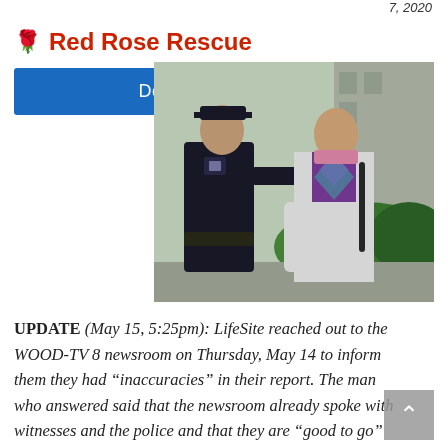7, 2020
🌹 Red Rose Rescue
Donate
[Figure (photo): A police officer in dark uniform with blue gloves appears to be arresting or escorting an elderly woman in a white jacket and purple-teal argyle sweater outdoors near a building with green hedges.]
UPDATE (May 15, 5:25pm): LifeSite reached out to the WOOD-TV 8 newsroom on Thursday, May 14 to inform them they had “inaccuracies” in their report. The man who answered said that the newsroom already spoke with witnesses and the police and that they are “good to go” with the story.